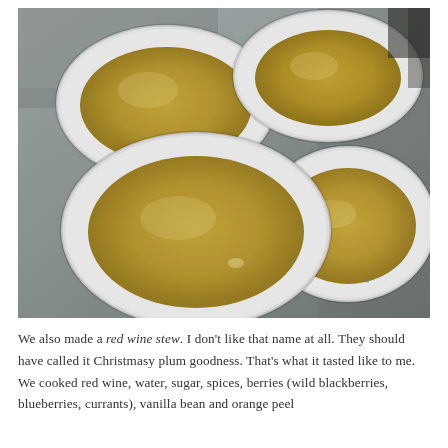[Figure (photo): Four white ceramic bowls filled with a yellowish-green liquid or custard mixture, arranged on a metal baking tray.]
We also made a red wine stew.  I don't like that name at all.  They should have called it Christmasy plum goodness.  That's what it tasted like to me.  We cooked red wine, water, sugar, spices, berries (wild blackberries, blueberries, currants), vanilla bean and orange peel